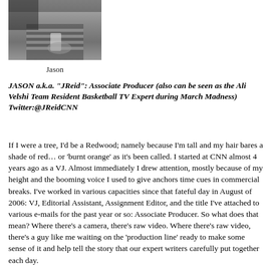[Figure (photo): Black and white photo of a person holding a glass, sitting at a table]
Jason
JASON a.k.a. "JReid": Associate Producer (also can be seen as the Ali Velshi Team Resident Basketball TV Expert during March Madness) Twitter:@JReidCNN
If I were a tree, I'd be a Redwood; namely because I'm tall and my hair bares a shade of red… or 'burnt orange' as it's been called. I started at CNN almost 4 years ago as a VJ. Almost immediately I drew attention, mostly because of my height and the booming voice I used to give anchors time cues in commercial breaks. I've worked in various capacities since that fateful day in August of 2006: VJ, Editorial Assistant, Assignment Editor, and the title I've attached to various e-mails for the past year or so: Associate Producer. So what does that mean? Where there's a camera, there's raw video. Where there's raw video, there's a guy like me waiting on the 'production line' ready to make some sense of it and help tell the story that our expert writers carefully put together each day.